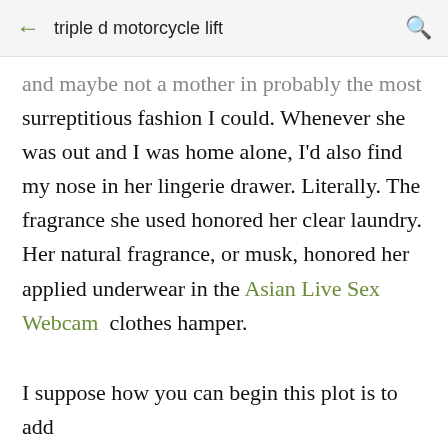triple d motorcycle lift
and maybe not a mother in probably the most surreptitious fashion I could. Whenever she was out and I was home alone, I'd also find my nose in her lingerie drawer. Literally. The fragrance she used honored her clear laundry. Her natural fragrance, or musk, honored her applied underwear in the Asian Live Sex Webcam  clothes hamper.
I suppose how you can begin this plot is to add